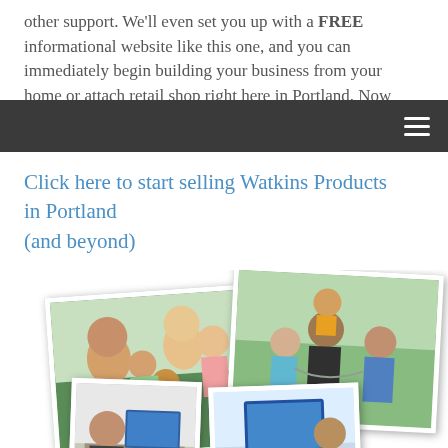other support. We'll even set you up with a FREE informational website like this one, and you can immediately begin building your business from your home or attach retail shop right here in Portland. Now let's make that work for you.
Click here to start selling Watkins Products in Portland (and beyond)
[Figure (photo): Collage of family photos: a family with a golden retriever dog outdoors, a family group with a child on shoulders outdoors, a person at a desk with a laptop, and additional family portraits arranged as overlapping printed photos.]